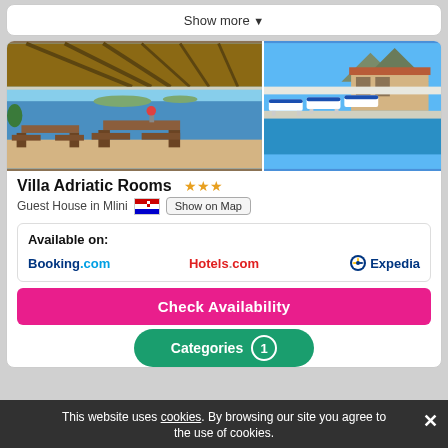Show more
[Figure (photo): Two hotel photos side by side: left shows a wooden-roofed terrace/dining area with sea view, right shows an outdoor swimming pool with blue lounge chairs and mountain backdrop]
Villa Adriatic Rooms ★★★
Guest House in Mlini  🇭🇷  Show on Map
Available on:
Booking.com   Hotels.com   Expedia
Check Availability
Categories  1
This website uses cookies. By browsing our site you agree to the use of cookies.